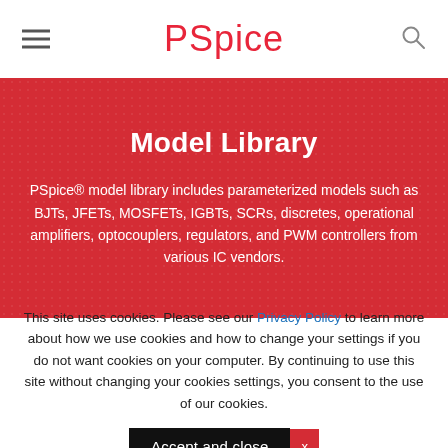PSpice
Model Library
PSpice® model library includes parameterized models such as BJTs, JFETs, MOSFETs, IGBTs, SCRs, discretes, operational amplifiers, optocouplers, regulators, and PWM controllers from various IC vendors.
This site uses cookies. Please see our Privacy Policy to learn more about how we use cookies and how to change your settings if you do not want cookies on your computer. By continuing to use this site without changing your cookies settings, you consent to the use of our cookies.
Accept and close  x